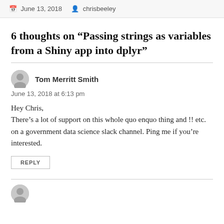June 13, 2018  chrisbeeley
6 thoughts on “Passing strings as variables from a Shiny app into dplyr”
Tom Merritt Smith
June 13, 2018 at 6:13 pm

Hey Chris,
There’s a lot of support on this whole quo enquo thing and !! etc. on a government data science slack channel. Ping me if you’re interested.
REPLY